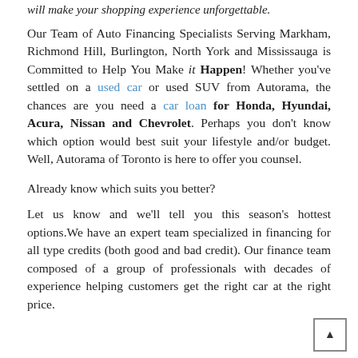will make your shopping experience unforgettable.
Our Team of Auto Financing Specialists Serving Markham, Richmond Hill, Burlington, North York and Mississauga is Committed to Help You Make it Happen! Whether you've settled on a used car or used SUV from Autorama, the chances are you need a car loan for Honda, Hyundai, Acura, Nissan and Chevrolet. Perhaps you don't know which option would best suit your lifestyle and/or budget. Well, Autorama of Toronto is here to offer you counsel.
Already know which suits you better?
Let us know and we'll tell you this season's hottest options.We have an expert team specialized in financing for all type credits (both good and bad credit). Our finance team composed of a group of professionals with decades of experience helping customers get the right car at the right price.